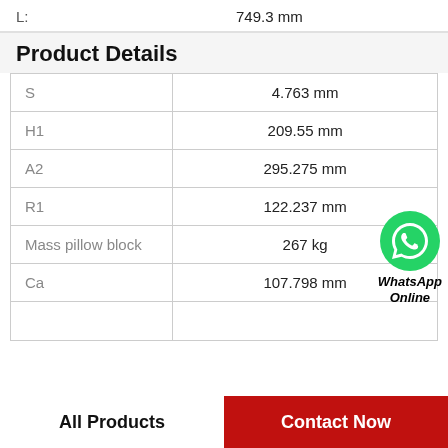L:    749.3 mm
Product Details
| Property | Value |
| --- | --- |
| S | 4.763 mm |
| H1 | 209.55 mm |
| A2 | 295.275 mm |
| R1 | 122.237 mm |
| Mass pillow block | 267 kg |
| Ca | 107.798 mm |
[Figure (logo): WhatsApp Online green phone icon with text 'WhatsApp Online']
All Products
Contact Now